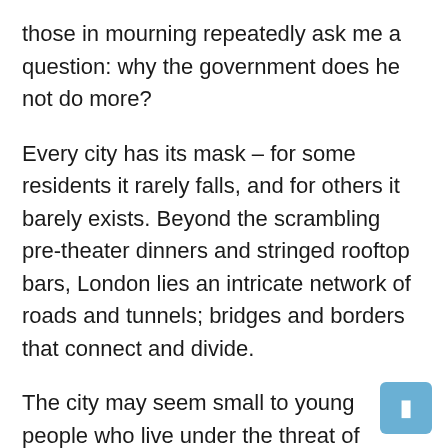those in mourning repeatedly ask me a question: why the government does he not do more?
Every city has its mask – for some residents it rarely falls, and for others it barely exists. Beyond the scrambling pre-theater dinners and stringed rooftop bars, London lies an intricate network of roads and tunnels; bridges and borders that connect and divide.
The city may seem small to young people who live under the threat of violence, and choosing a different route to school is a survival calculation in the same way that venturing into another borough is a fatal risk. .